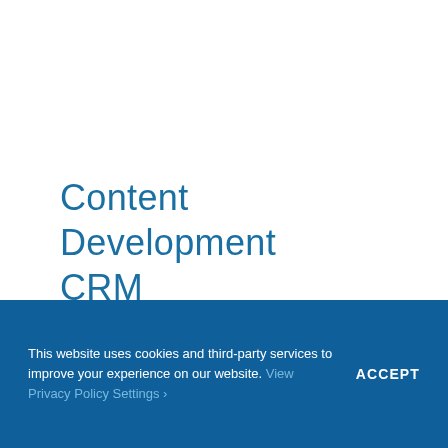Content
Development
CRM
This website uses cookies and third-party services to improve your experience on our website. View Privacy Policy Settings ›
ACCEPT